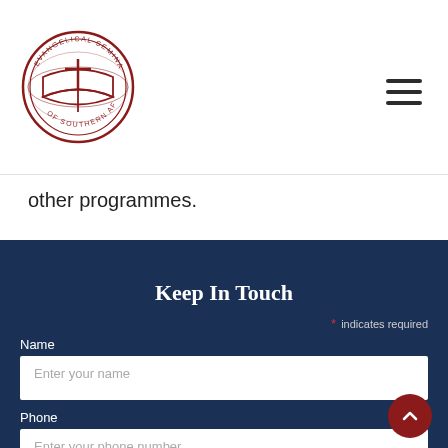[Figure (logo): Evangelical Seminary of Southern Africa circular logo with cross and open book]
other programmes.
Keep In Touch
* indicates required
Name
Enter your name
Phone
Enter your phone number